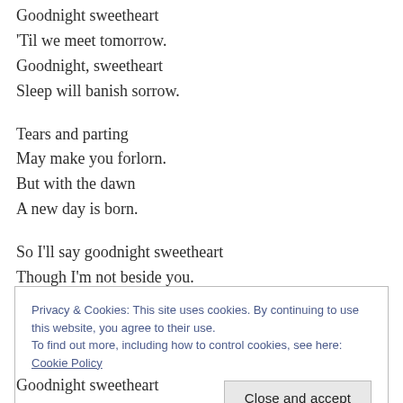Goodnight sweetheart
'Til we meet tomorrow.
Goodnight, sweetheart
Sleep will banish sorrow.
Tears and parting
May make you forlorn.
But with the dawn
A new day is born.
So I'll say goodnight sweetheart
Though I'm not beside you.
Privacy & Cookies: This site uses cookies. By continuing to use this website, you agree to their use.
To find out more, including how to control cookies, see here: Cookie Policy
Close and accept
Goodnight sweetheart